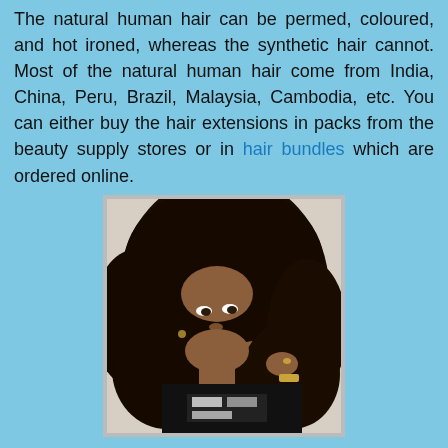The natural human hair can be permed, coloured, and hot ironed, whereas the synthetic hair cannot. Most of the natural human hair come from India, China, Peru, Brazil, Malaysia, Cambodia, etc. You can either buy the hair extensions in packs from the beauty supply stores or in hair bundles which are ordered online.
[Figure (photo): Photo of a woman with voluminous dark curly hair extensions, wearing a black top, holding her hair with one hand.]
There are different types of hair extension applications.
Tape-in hair extensions are the newest hair